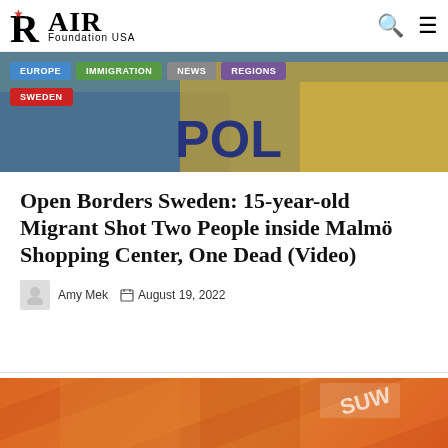RAIR Foundation USA
[Figure (screenshot): Swedish police car with 'POL' text visible, with navigation badges: EUROPE, IMMIGRATION, NEWS, REGIONS, SWEDEN]
Open Borders Sweden: 15-year-old Migrant Shot Two People inside Malmö Shopping Center, One Dead (Video)
Amy Mek  August 19, 2022
[Figure (photo): Orange packaging/boxes with DONATE button overlay]